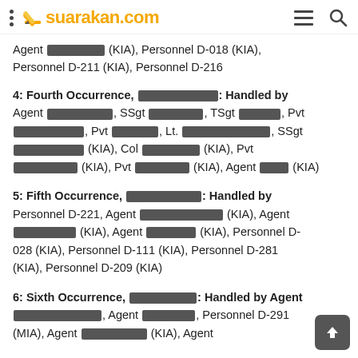suarakan.com
Agent [REDACTED] (KIA), Personnel D-018 (KIA), Personnel D-211 (KIA), Personnel D-216
4: Fourth Occurrence, [REDACTED]: Handled by Agent [REDACTED], SSgt [REDACTED], TSgt [REDACTED], Pvt [REDACTED], Pvt [REDACTED], Lt. [REDACTED], SSgt [REDACTED] (KIA), Col [REDACTED] (KIA), Pvt [REDACTED] (KIA), Pvt [REDACTED] (KIA), Agent [REDACTED] (KIA)
5: Fifth Occurrence, [REDACTED]: Handled by Personnel D-221, Agent [REDACTED] (KIA), Agent [REDACTED] (KIA), Agent [REDACTED] (KIA), Personnel D-028 (KIA), Personnel D-111 (KIA), Personnel D-281 (KIA), Personnel D-209 (KIA)
6: Sixth Occurrence, [REDACTED]: Handled by Agent [REDACTED], Agent [REDACTED], Personnel D-291 (MIA), Agent [REDACTED] (KIA), Agent